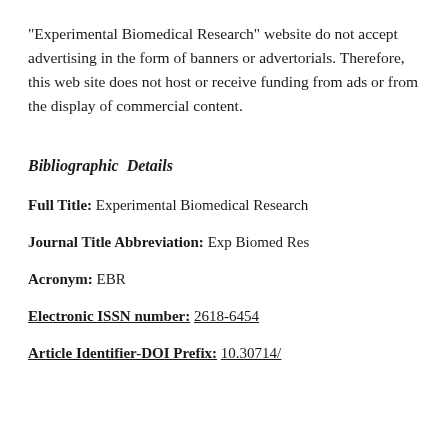"Experimental Biomedical Research" website do not accept advertising in the form of banners or advertorials. Therefore, this web site does not host or receive funding from ads or from the display of commercial content.
Bibliographic  Details
Full Title: Experimental Biomedical Research
Journal Title Abbreviation: Exp Biomed Res
Acronym: EBR
Electronic ISSN number: 2618-6454
Article Identifier-DOI Prefix: 10.30714/